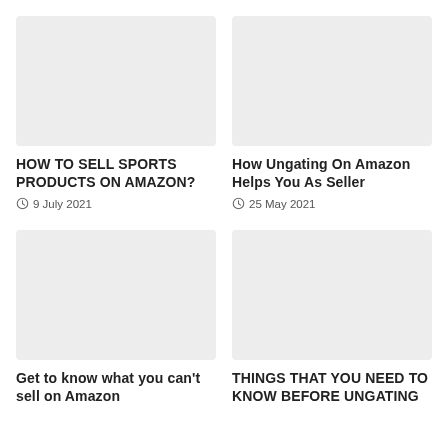[Figure (photo): Placeholder image (light grey rectangle) for article about selling sports products on Amazon]
HOW TO SELL SPORTS PRODUCTS ON AMAZON?
9 July 2021
[Figure (photo): Placeholder image (light grey rectangle) for article about ungating on Amazon]
How Ungating On Amazon Helps You As Seller
25 May 2021
[Figure (photo): Placeholder image (light grey rectangle) for article about what you can't sell on Amazon]
Get to know what you can't sell on Amazon
[Figure (photo): Placeholder image (light grey rectangle) for article about things to know before ungating]
THINGS THAT YOU NEED TO KNOW BEFORE UNGATING